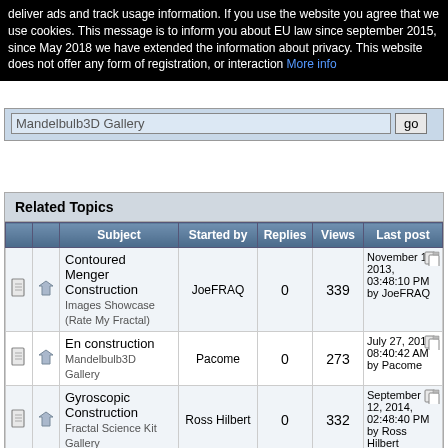deliver ads and track usage information. If you use the website you agree that we use cookies. This message is to inform you about EU law since september 2015, since May 2018 we have extended the information about privacy. This website does not offer any form of registration, or interaction More info
[Figure (screenshot): Search bar showing Mandelbulb3D Gallery search input with go button]
|  |  | Subject | Started by | Replies | Views | Last post |
| --- | --- | --- | --- | --- | --- | --- |
|  |  | Contoured Menger Construction
Images Showcase (Rate My Fractal) | JoeFRAQ | 0 | 339 | November 14, 2013, 03:48:10 PM by JoeFRAQ |
|  |  | En construction
Mandelbulb3D Gallery | Pacome | 0 | 273 | July 27, 2014, 08:40:42 AM by Pacome |
|  |  | Gyroscopic Construction
Fractal Science Kit Gallery | Ross Hilbert | 0 | 332 | September 12, 2014, 02:48:40 PM by Ross Hilbert |
|  |  | Spatial Construction |  |  |  | November |